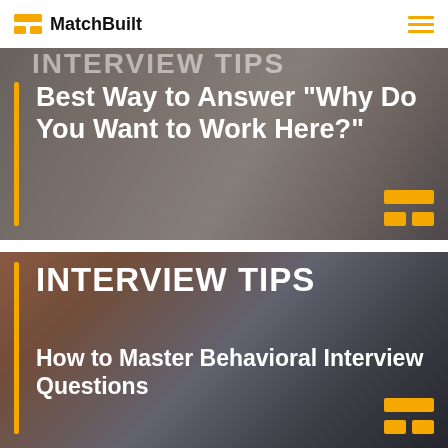MatchBuilt
[Figure (screenshot): Interview tips card image with text overlay: 'INTERVIEW TIPS' and 'Best Way to Answer "Why Do You Want to Work Here?"' on a dark photo of people working at a laptop, with a yellow vertical bar and MatchBuilt logo]
[Figure (screenshot): Interview tips card image with text overlay: 'INTERVIEW TIPS' and 'How to Master Behavioral Interview Questions' on a dark photo of a smiling woman, with a yellow vertical bar and MatchBuilt logo]